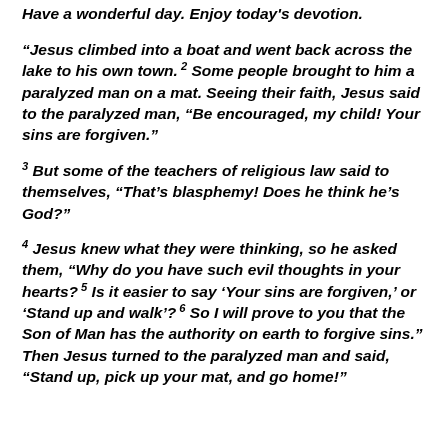Have a wonderful day. Enjoy today's devotion.
“Jesus climbed into a boat and went back across the lake to his own town. 2 Some people brought to him a paralyzed man on a mat. Seeing their faith, Jesus said to the paralyzed man, “Be encouraged, my child! Your sins are forgiven.”
3 But some of the teachers of religious law said to themselves, “That’s blasphemy! Does he think he’s God?”
4 Jesus knew what they were thinking, so he asked them, “Why do you have such evil thoughts in your hearts? 5 Is it easier to say ‘Your sins are forgiven,’ or ‘Stand up and walk’? 6 So I will prove to you that the Son of Man has the authority on earth to forgive sins.” Then Jesus turned to the paralyzed man and said, “Stand up, pick up your mat, and go home!”